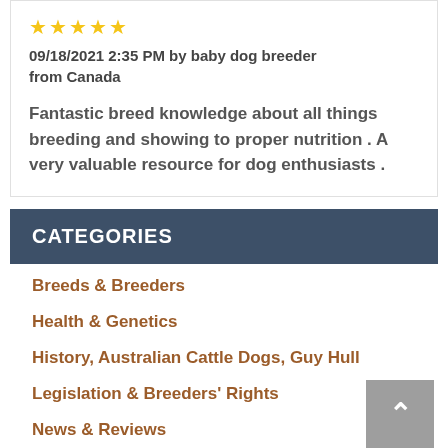★★★★★
09/18/2021 2:35 PM by baby dog breeder from Canada
Fantastic breed knowledge about all things breeding and showing to proper nutrition . A very valuable resource for dog enthusiasts .
CATEGORIES
Breeds & Breeders
Health & Genetics
History, Australian Cattle Dogs, Guy Hull
Legislation & Breeders' Rights
News & Reviews